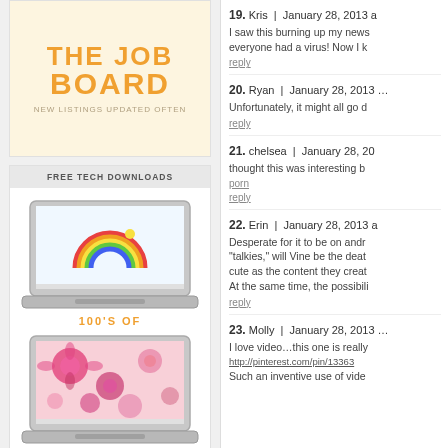[Figure (illustration): Yellow/orange bold text on cream background reading 'THE JOB BOARD' with subtitle 'NEW LISTINGS UPDATED OFTEN']
FREE TECH DOWNLOADS
[Figure (illustration): Laptop showing rainbow wallpaper desktop]
100'S OF
[Figure (illustration): Laptop showing pink floral wallpaper desktop]
19. Kris | January 28, 2013 a
I saw this burning up my news... everyone had a virus! Now I k...
reply
20. Ryan | January 28, 2013 ...
Unfortunately, it might all go d...
reply
21. chelsea | January 28, 20...
thought this was interesting b...
porn
reply
22. Erin | January 28, 2013 a...
Desperate for it to be on andr... "talkies," will Vine be the deat... cute as the content they creat... At the same time, the possibili...
reply
23. Molly | January 28, 2013 ...
I love video...this one is really...
http://pinterest.com/pin/13363...
Such an inventive use of vide...